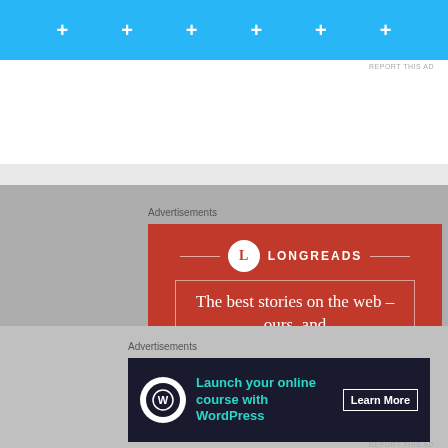[Figure (screenshot): Top portion of a light blue banner advertisement with plus signs]
REPORT THIS AD
[Figure (screenshot): Gray background section with Advertisements label and Longreads red advertisement banner showing 'The best stories on the web – ours, and everyone else's']
Advertisements
[Figure (screenshot): Bottom Advertisements label and dark 'Launch your online course with WordPress - Learn More' banner ad]